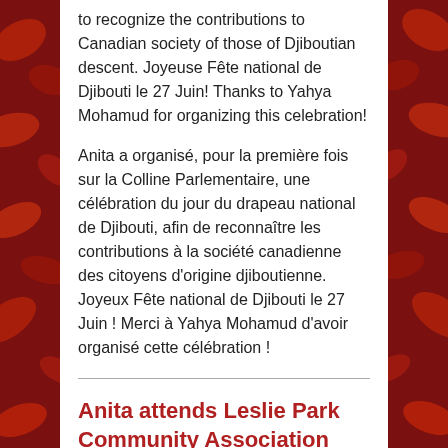to recognize the contributions to Canadian society of those of Djiboutian descent. Joyeuse Fête national de Djibouti le 27 Juin! Thanks to Yahya Mohamud for organizing this celebration!
Anita a organisé, pour la première fois sur la Colline Parlementaire, une célébration du jour du drapeau national de Djibouti, afin de reconnaître les contributions à la société canadienne des citoyens d'origine djiboutienne. Joyeux Fête national de Djibouti le 27 Juin ! Merci à Yahya Mohamud d'avoir organisé cette célébration !
Anita attends Leslie Park Community Association picnic